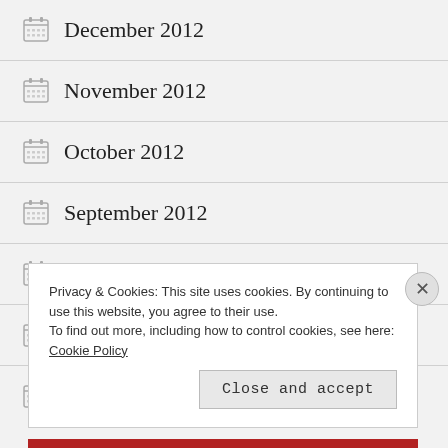December 2012
November 2012
October 2012
September 2012
August 2012
July 2012
June 2012
Privacy & Cookies: This site uses cookies. By continuing to use this website, you agree to their use. To find out more, including how to control cookies, see here: Cookie Policy
Close and accept